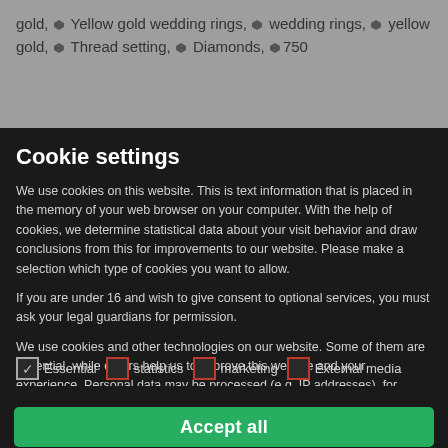gold, 🏷 Yellow gold wedding rings, 🏷 wedding rings, 🏷 yellow gold, 🏷 Thread setting, 🏷 Diamonds, 🏷 750
Cookie settings
We use cookies on this website. This is text information that is placed in the memory of your web browser on your computer. With the help of cookies, we determine statistical data about your visit behavior and draw conclusions from this for improvements to our website. Please make a selection which type of cookies you want to allow.
If you are under 16 and wish to give consent to optional services, you must ask your legal guardians for permission.
We use cookies and other technologies on our website. Some of them are essential, while others help us to improve this website and your experience. Personal data may be processed (e.g. IP addresses), for example for personalized ads and content or ad and content measurement. You can
Essential
statistics
marketing
External media
Accept all